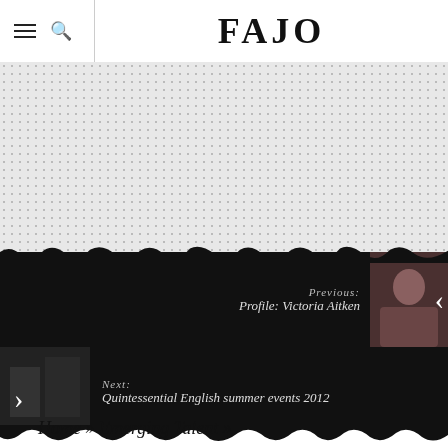FAJO
[Figure (other): Grey dotted placeholder area for advertisement or image content]
Previous: Profile: Victoria Aitken
Next: Quintessential English summer events 2012
Home » Emerging Talent »